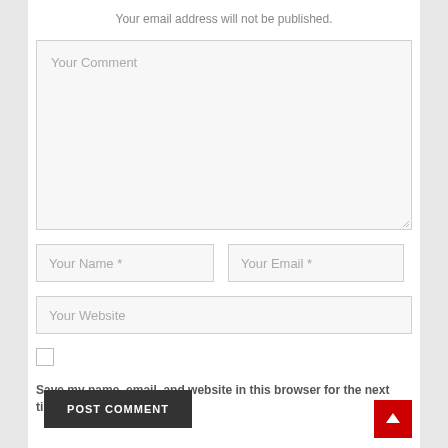Your email address will not be published.
[Figure (screenshot): Comment form textarea with placeholder text 'Your Comment' and resize handle]
[Figure (screenshot): Two input fields side by side: 'Your Name *' and 'Your Email *']
[Figure (screenshot): Input field: 'Your Website']
Save my name, email, and website in this browser for the next time I comment.
[Figure (screenshot): POST COMMENT button (dark grey) and red scroll-to-top arrow button]